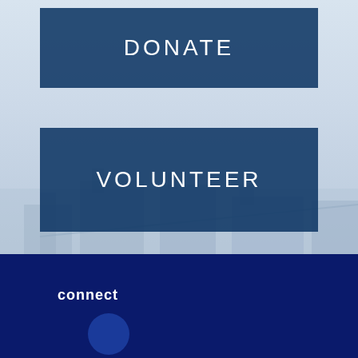DONATE
VOLUNTEER
Subscribe with RSS
connect